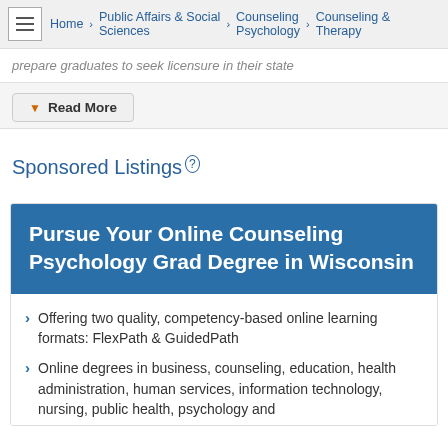Home > Public Affairs & Social Sciences > Counseling Psychology > Counseling & Therapy
prepare graduates to seek licensure in their state
Read More
Sponsored Listings
Pursue Your Online Counseling Psychology Grad Degree in Wisconsin
Offering two quality, competency-based online learning formats: FlexPath & GuidedPath
Online degrees in business, counseling, education, health administration, human services, information technology, nursing, public health, psychology and